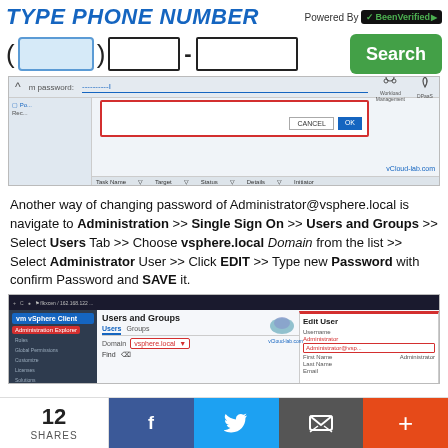[Figure (screenshot): Phone number search bar with BeenVerified branding - input fields for area code, middle, and last 4 digits with Search button]
[Figure (screenshot): vSphere vCloud management interface showing a password change dialog with CANCEL and OK buttons, overlaid on task management interface]
Another way of changing password of Administrator@vsphere.local is navigate to Administration >> Single Sign On >> Users and Groups >> Select Users Tab >> Choose vsphere.local Domain from the list >> Select Administrator User >> Click EDIT >> Type new Password with confirm Password and SAVE it.
[Figure (screenshot): vSphere Client Users and Groups screen showing Edit User dialog with vsphere.local domain selected]
12 SHARES